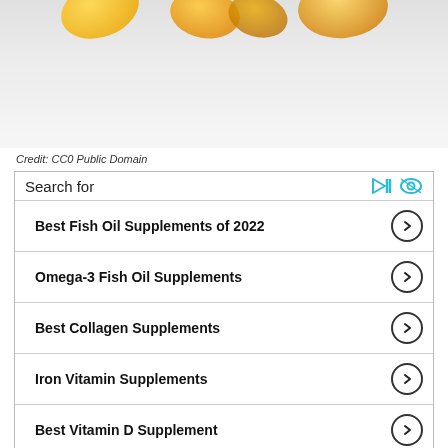[Figure (photo): Close-up photo of golden fish oil supplement capsules on a light gray/white background]
Credit: CC0 Public Domain
[Figure (infographic): Search widget with 5 search result links: Best Fish Oil Supplements of 2022, Omega-3 Fish Oil Supplements, Best Collagen Supplements, Iron Vitamin Supplements, Best Vitamin D Supplement. Each has a circle arrow button. Header shows 'Search for' with two teal icons.]
In a recent study published in European Heart